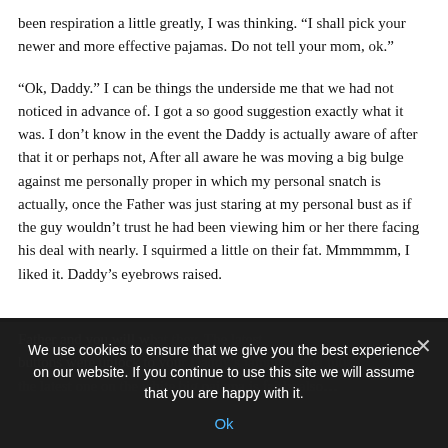been respiration a little greatly, I was thinking. “I shall pick your newer and more effective pajamas. Do not tell your mom, ok.”
“Ok, Daddy.” I can be things the underside me that we had not noticed in advance of. I got a so good suggestion exactly what it was. I don’t know in the event the Daddy is actually aware of after that it or perhaps not, After all aware he was moving a big bulge against me personally proper in which my personal snatch is actually, once the Father was just staring at my personal bust as if the guy wouldn’t trust he had been viewing him or her there facing his deal with nearly. I squirmed a little on their fat. Mmmmmm, I liked it. Daddy’s eyebrows raised.
Father and you will … what they. The latest buttons were unlock to your Daddy’s jammy travel plus the latest one on the white big pajama is fairly also…
We use cookies to ensure that we give you the best experience on our website. If you continue to use this site we will assume that you are happy with it.